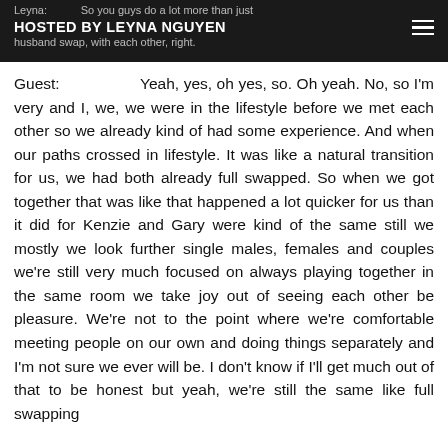Leyna: So you guys do a lot more than just husband swap, with each other, right. HOSTED BY LEYNA NGUYEN
Guest: Yeah, yes, oh yes, so. Oh yeah. No, so I'm very and I, we, we were in the lifestyle before we met each other so we already kind of had some experience. And when our paths crossed in lifestyle. It was like a natural transition for us, we had both already full swapped. So when we got together that was like that happened a lot quicker for us than it did for Kenzie and Gary were kind of the same still we mostly we look further single males, females and couples we're still very much focused on always playing together in the same room we take joy out of seeing each other be pleasure. We're not to the point where we're comfortable meeting people on our own and doing things separately and I'm not sure we ever will be. I don't know if I'll get much out of that to be honest but yeah, we're still the same like full swapping